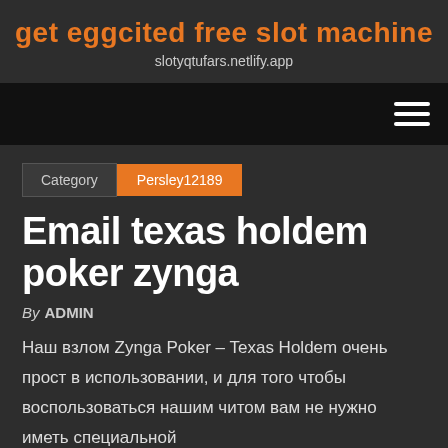get eggcited free slot machine
slotyqtufars.netlify.app
[Figure (other): Navigation bar with hamburger menu icon (three horizontal lines) on black background]
Category  Persley12189
Email texas holdem poker zynga
By ADMIN
Наш взлом Zynga Poker – Texas Holdem очень прост в использовании, и для того чтобы воспользоваться нашим читом вам не нужно иметь специальной